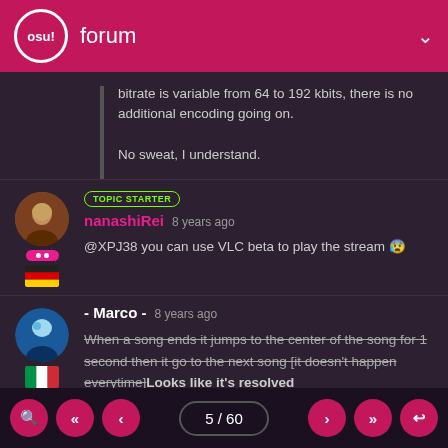osu! forum
bitrate is variable from 64 to 192 kbits, there is no additional encoding going on.

No sweat, I understand.
TOPIC STARTER
nanashiRei 8 years ago
@XPJ38 you can use VLC beta to play the stream 🙈
- Marco - 8 years ago
When a song ends it jumps to the center of the song for 1 second then it go to the next song [it doesn't happen everytime]Looks like it's resolved

Also * is converted into _
5 / 60